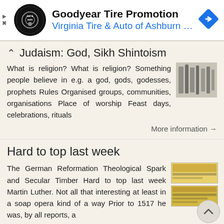[Figure (infographic): Goodyear Tire Promotion ad banner with Virginia Tire & Auto of Ashburn logo, navigation diamond icon, and play/close icons]
Judaism: God. Sikh Shintoism
What is religion? What is religion? Something people believe in e.g. a god, gods, godesses, prophets Rules Organised groups, communities, organisations Place of worship Feast days, celebrations, rituals
More information →
Hard to top last week
The German Reformation Theological Spark and Secular Timber Hard to top last week Martin Luther. Not all that interesting at least in a soap opera kind of a way Prior to 1517 he was, by all reports, a